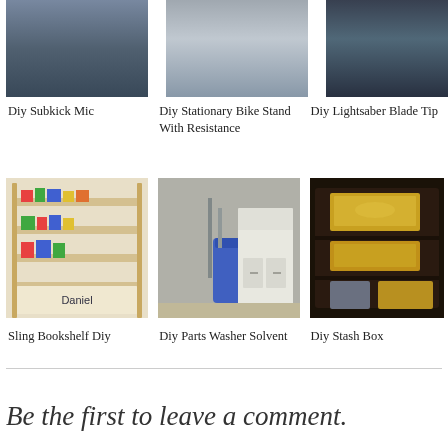[Figure (photo): DIY Subkick Mic project thumbnail]
Diy Subkick Mic
[Figure (photo): DIY Stationary Bike Stand With Resistance project thumbnail]
Diy Stationary Bike Stand With Resistance
[Figure (photo): DIY Lightsaber Blade Tip project thumbnail]
Diy Lightsaber Blade Tip
[Figure (photo): Sling Bookshelf DIY project thumbnail showing a wooden sling bookshelf with colorful books and name Daniel]
Sling Bookshelf Diy
[Figure (photo): DIY Parts Washer Solvent project thumbnail showing a garage with blue barrel]
Diy Parts Washer Solvent
[Figure (photo): DIY Stash Box project thumbnail showing a dark wooden box with gold objects]
Diy Stash Box
Be the first to leave a comment.